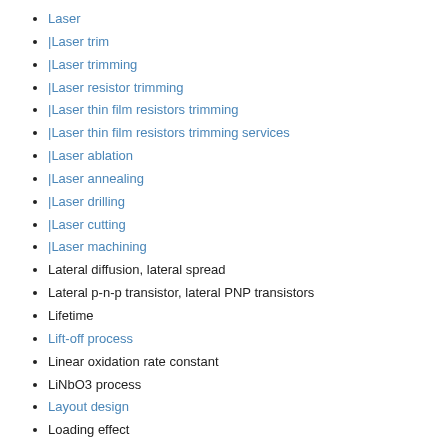Laser
|Laser trim
|Laser trimming
|Laser resistor trimming
|Laser thin film resistors trimming
|Laser thin film resistors trimming services
|Laser ablation
|Laser annealing
|Laser drilling
|Laser cutting
|Laser machining
Lateral diffusion, lateral spread
Lateral p-n-p transistor, lateral PNP transistors
Lifetime
Lift-off process
Linear oxidation rate constant
LiNbO3 process
Layout design
Loading effect
Local oxidation, LOCOS, Locally oxidized transistor
Low reverse gain transistors
LPCVD epitaxial deposition, LPCVD epitaxial process
LPCVD nitride deposition, LPCVD nitride process
LPCVD oxide deposition, LPCVD oxide process
LPCVD Polysilicon deposition, LPCVD Polysilicon process
Low pressure chemical vapor deposition
Low pressure reactor
M